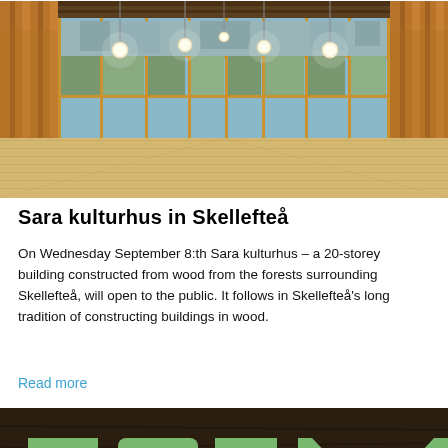[Figure (photo): Interior of Sara kulturhus building — a large wood-panelled hall with pendant globe lights and floor-to-ceiling windows]
Sara kulturhus in Skellefteå
On Wednesday September 8:th Sara kulturhus – a 20-storey building constructed from wood from the forests surrounding Skellefteå, will open to the public. It follows in Skellefteå's long tradition of constructing buildings in wood.
Read more
[Figure (photo): Dark wood surface with large green 'FORM' text letters and a partial view of a small triangular object in the corner]